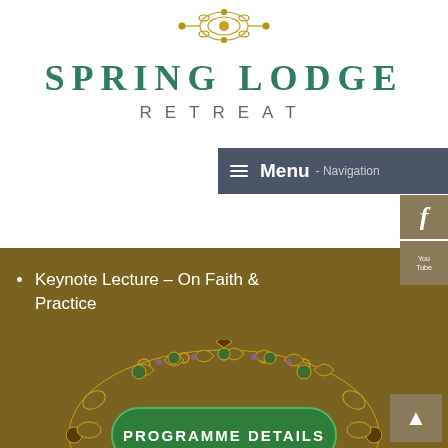[Figure (illustration): Decorative golden ornamental design at the top center of the page]
SPRING LODGE
RETREAT
Menu - Navigation
Economics
Politics
Keynote Lecture – On Faith & Practice
[Figure (illustration): Decorative golden Islamic-style ornamental border with floral and geometric patterns surrounding a green button labeled PROGRAMME DETAILS]
PROGRAMME DETAILS